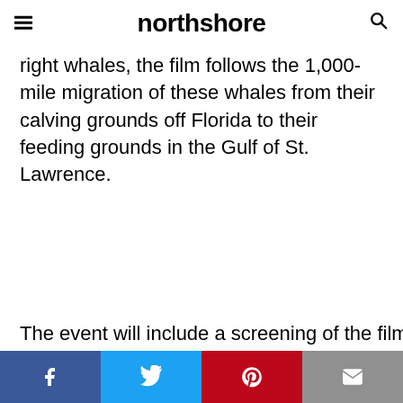northshore
right whales, the film follows the 1,000-mile migration of these whales from their calving grounds off Florida to their feeding grounds in the Gulf of St. Lawrence.
The event will include a screening of the film followed by
[Figure (screenshot): Social media share bar with Facebook, Twitter, Pinterest, and email buttons]